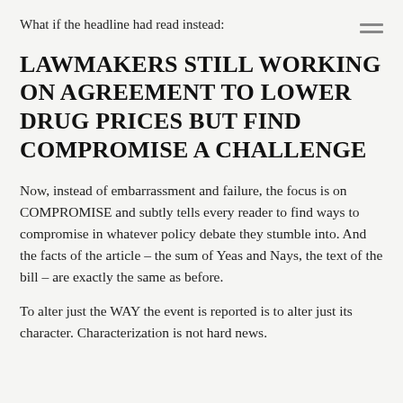What if the headline had read instead:
LAWMAKERS STILL WORKING ON AGREEMENT TO LOWER DRUG PRICES BUT FIND COMPROMISE A CHALLENGE
Now, instead of embarrassment and failure, the focus is on COMPROMISE and subtly tells every reader to find ways to compromise in whatever policy debate they stumble into. And the facts of the article – the sum of Yeas and Nays, the text of the bill – are exactly the same as before.
To alter just the WAY the event is reported is to alter just its character. Characterization is not hard news.